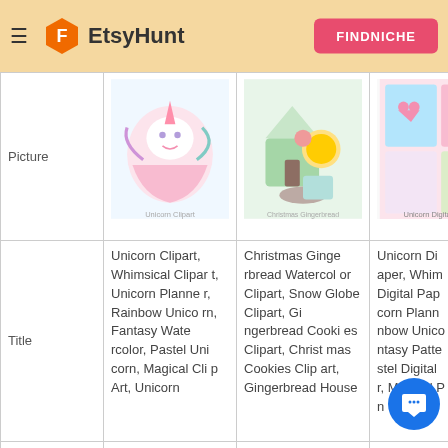EtsyHunt — FINDNICHE
|  | Product 1 | Product 2 | Product 3 |
| --- | --- | --- | --- |
| Picture | [Unicorn Clipart image] | [Christmas Gingerbread image] | [Unicorn Digital Paper image] |
| Title | Unicorn Clipart, Whimsical Clipart, Unicorn Planner, Rainbow Unicorn, Fantasy Watercolor, Pastel Unicorn, Magical Clip Art, Unicorn | Christmas Gingerbread Watercolor Clipart, Snow Globe Clipart, Gingerbread Cookies Clipart, Christmas Cookies Clipart, Gingerbread House | Unicorn Digital Paper, Whimsical Digital Paper, Unicorn Planner, Rainbow Unicorn, Fantasy Pattern, Pastel Digital Paper, Magical Paper n |
|  | Craft Supplies & Tools , | Craft Supplies & Tools , |  |